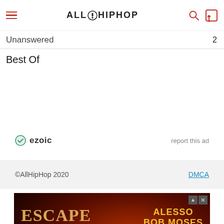AllHipHop
Unanswered
Best Of
[Figure (logo): Ezoic logo with green checkmark icon and bold text 'ezoic', with 'report this ad' link on the right]
©AllHipHop 2020   DMCA
[Figure (photo): Escape Halloween 2022 advertisement banner. Dark background with red moon. Artists listed: ALESSO, BOB MOSES (CLUB SET), DIPLO. Event dates: October 28+29, 2022, Southern California, 18+]